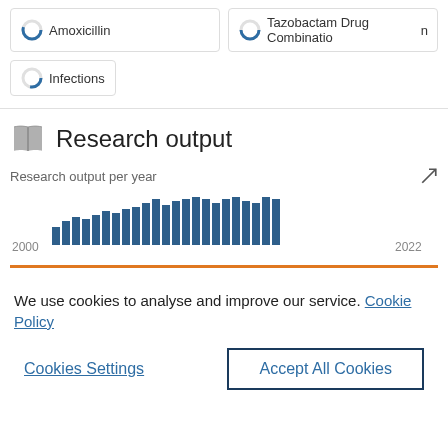Amoxicillin
Tazobactam Drug Combination
Infections
Research output
[Figure (bar-chart): Research output per year]
We use cookies to analyse and improve our service. Cookie Policy
Cookies Settings
Accept All Cookies